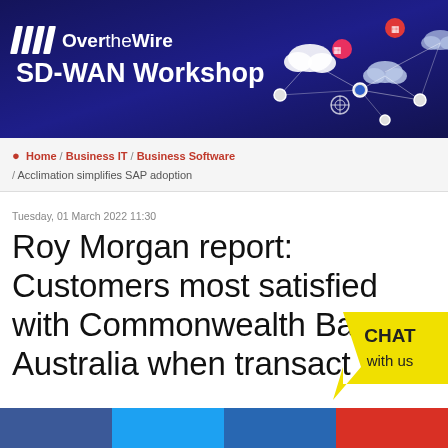[Figure (illustration): Over the Wire SD-WAN Workshop banner with dark blue/purple background and network connectivity graphic on the right showing clouds, nodes and connecting lines with colored dots]
Home / Business IT / Business Software / Acclimation simplifies SAP adoption
Tuesday, 01 March 2022 11:30
Roy Morgan report: Customers most satisfied with Commonwealth Bank of Australia when transacting using an app
[Figure (illustration): Yellow speech bubble chat widget with text CHAT with us]
[Figure (illustration): Social sharing buttons bar at bottom: Facebook (blue), Twitter (light blue), LinkedIn (dark blue), Email (red)]